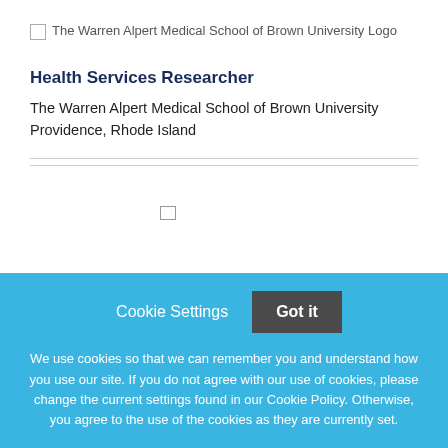[Figure (logo): The Warren Alpert Medical School of Brown University Logo (broken image placeholder with alt text)]
Health Services Researcher
The Warren Alpert Medical School of Brown University
Providence, Rhode Island
Cookie Settings  Got it

We use cookies so that we can remember you and understand how you use our site. If you do not agree with our use of cookies, please change the current settings found in our Cookie Policy. Otherwise, you agree to the use of the cookies as they are currently set.